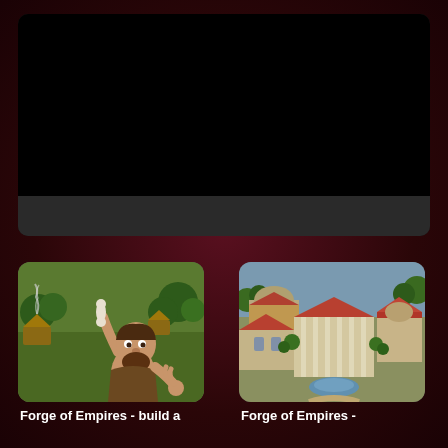[Figure (screenshot): Dark screen / video player area showing a black video frame with a dark grey bottom bar, set against a dark maroon textured background]
[Figure (screenshot): Forge of Empires game thumbnail showing a caveman character holding a bone tool with a stone age village in the background]
Forge of Empires - build a
[Figure (screenshot): Forge of Empires game thumbnail showing a classical era city with roman-style buildings, red rooftops, a temple and courtyard]
Forge of Empires -